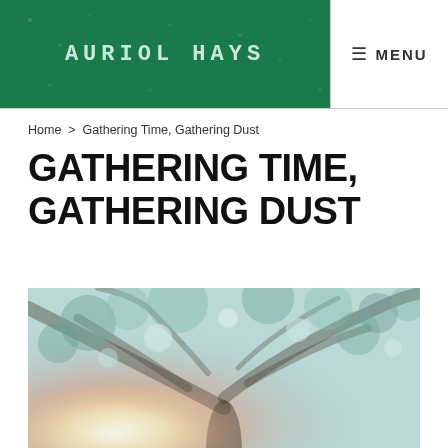AURIOL HAYS
≡ MENU
Home > Gathering Time, Gathering Dust
GATHERING TIME, GATHERING DUST
[Figure (photo): Blurred artistic photo looking up through tree branches with bokeh light effects, warm sun flare in lower left, muted greens and warm orange tones]